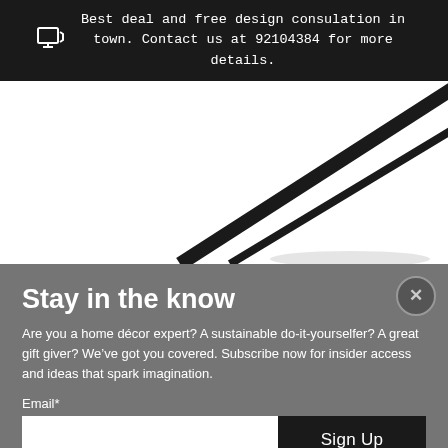Best deal and free design consulation in town. Contact us at 92104384 for more details.
[Figure (photo): Close-up photo of black metal furniture legs or rods against a white background]
Stay in the know
Are you a home décor expert? A sustainable do-it-yourselfer? A great gift giver? We've got you covered. Subscribe now for insider access and ideas that spark imagination.
Email*
Sign Up